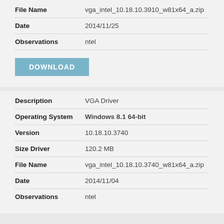| Field | Value |
| --- | --- |
| File Name | vga_intel_10.18.10.3910_w81x64_a.zip |
| Date | 2014/11/25 |
| Observations | ntel |
DOWNLOAD
| Field | Value |
| --- | --- |
| Description | VGA Driver |
| Operating System | Windows 8.1 64-bit |
| Version | 10.18.10.3740 |
| Size Driver | 120.2 MB |
| File Name | vga_intel_10.18.10.3740_w81x64_a.zip |
| Date | 2014/11/04 |
| Observations | ntel |